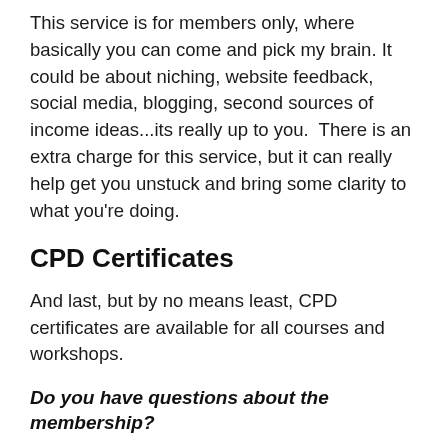This service is for members only, where basically you can come and pick my brain. It could be about niching, website feedback, social media, blogging, second sources of income ideas...its really up to you.  There is an extra charge for this service, but it can really help get you unstuck and bring some clarity to what you're doing.
CPD Certificates
And last, but by no means least, CPD certificates are available for all courses and workshops.
Do you have questions about the membership?